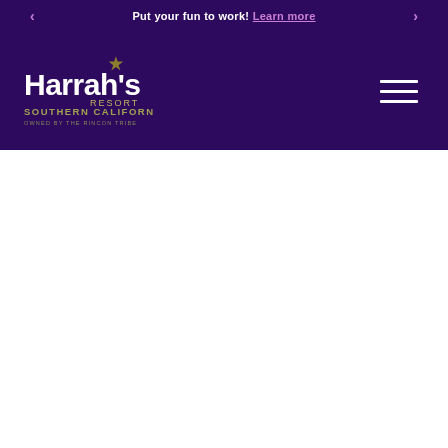Put your fun to work! Learn more
[Figure (logo): Harrah's Resort Southern California logo - owned by the Rincon Tribe, white and gold text on dark purple background]
[Figure (other): Hamburger menu icon - three white horizontal lines on dark purple background]